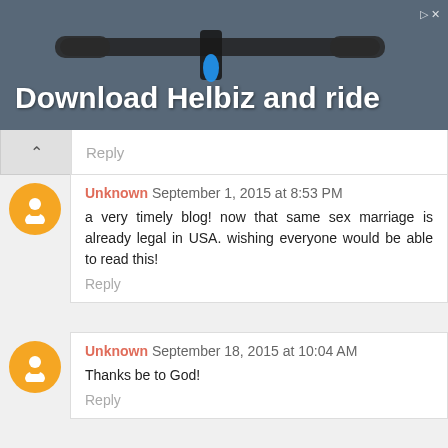[Figure (photo): Advertisement banner showing bicycle handlebars with text 'Download Helbiz and ride' on a dark background]
Reply
Unknown September 1, 2015 at 8:53 PM
a very timely blog! now that same sex marriage is already legal in USA. wishing everyone would be able to read this!
Reply
Unknown September 18, 2015 at 10:04 AM
Thanks be to God!
Reply
Unknown October 17, 2015 at 7:27 AM
SsD
Reply